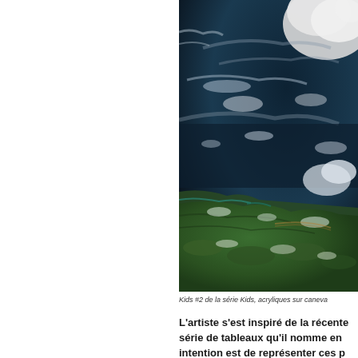[Figure (photo): Aerial/satellite photograph showing a coastline with dark ocean water, white clouds, and green land masses visible. The image appears to be a satellite view of a coastal region with dramatic cloud formations over dark sea.]
Kids #2 de la série Kids, acryliques sur caneva...
L'artiste s'est inspiré de la récente... série de tableaux qu'il nomme en... intention est de représenter ces p...